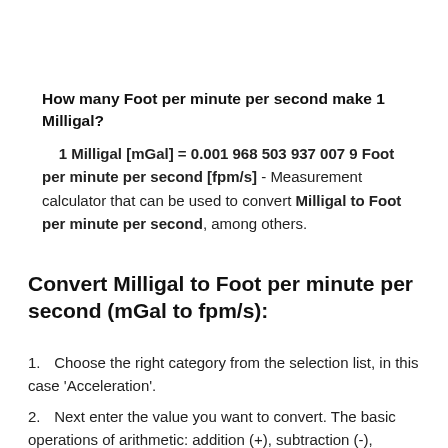How many Foot per minute per second make 1 Milligal?
1 Milligal [mGal] = 0.001 968 503 937 007 9 Foot per minute per second [fpm/s] - Measurement calculator that can be used to convert Milligal to Foot per minute per second, among others.
Convert Milligal to Foot per minute per second (mGal to fpm/s):
Choose the right category from the selection list, in this case 'Acceleration'.
Next enter the value you want to convert. The basic operations of arithmetic: addition (+), subtraction (-),